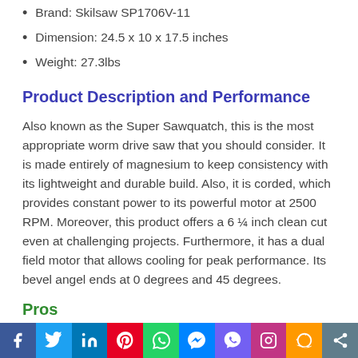Brand: Skilsaw SP1706V-11
Dimension: 24.5 x 10 x 17.5 inches
Weight: 27.3lbs
Product Description and Performance
Also known as the Super Sawquatch, this is the most appropriate worm drive saw that you should consider. It is made entirely of magnesium to keep consistency with its lightweight and durable build. Also, it is corded, which provides constant power to its powerful motor at 2500 RPM. Moreover, this product offers a 6 ¼ inch clean cut even at challenging projects. Furthermore, it has a dual field motor that allows cooling for peak performance. Its bevel angel ends at 0 degrees and 45 degrees.
Pros